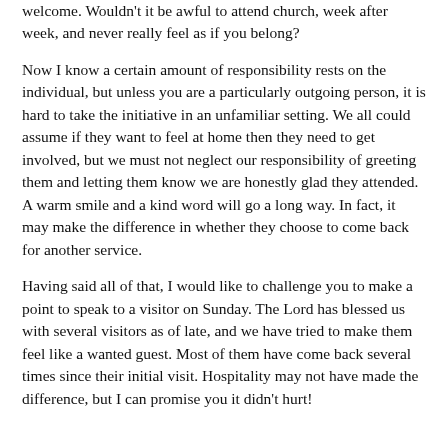welcome. Wouldn't it be awful to attend church, week after week, and never really feel as if you belong?
Now I know a certain amount of responsibility rests on the individual, but unless you are a particularly outgoing person, it is hard to take the initiative in an unfamiliar setting. We all could assume if they want to feel at home then they need to get involved, but we must not neglect our responsibility of greeting them and letting them know we are honestly glad they attended. A warm smile and a kind word will go a long way. In fact, it may make the difference in whether they choose to come back for another service.
Having said all of that, I would like to challenge you to make a point to speak to a visitor on Sunday. The Lord has blessed us with several visitors as of late, and we have tried to make them feel like a wanted guest. Most of them have come back several times since their initial visit. Hospitality may not have made the difference, but I can promise you it didn't hurt!